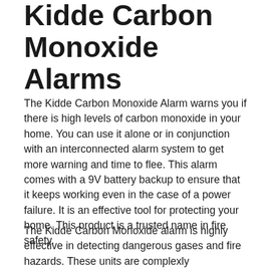Kidde Carbon Monoxide Alarms
The Kidde Carbon Monoxide Alarm warns you if there is high levels of carbon monoxide in your home. You can use it alone or in conjunction with an interconnected alarm system to get more warning and time to flee. This alarm comes with a 9V battery backup to ensure that it keeps working even in the case of a power failure. It is an effective tool for protecting your home. This product is a trusted name in fire safety.
The Kidde Carbon Monoxide alarm is highly effective in detecting dangerous gases and fire hazards. These units are complexly